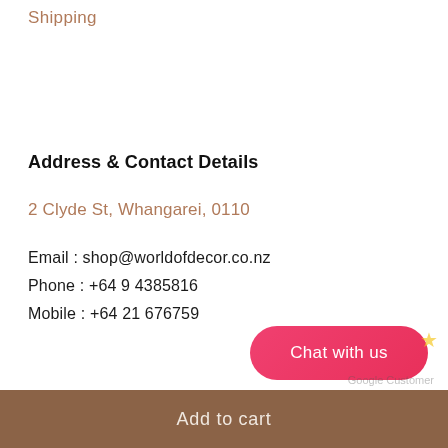Shipping
Address & Contact Details
2 Clyde St, Whangarei, 0110
Email : shop@worldofdecor.co.nz
Phone : +64 9 4385816
Mobile : +64 21 676759
Add to cart